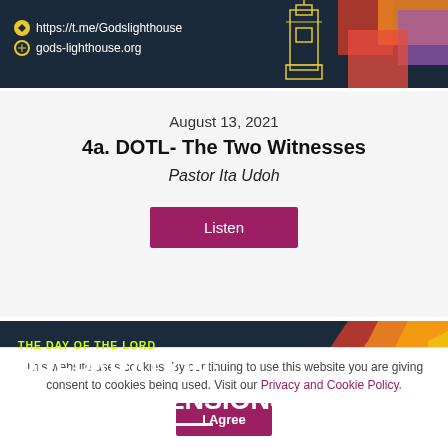[Figure (screenshot): Header banner with dark navy background showing links: https://t.me/Godslighthouse and gods-lighthouse.org, with colorful 3D lighthouse graphic on the right]
August 13, 2021
4a. DOTL- The Two Witnesses
Pastor Ita Udoh
Listen
[Figure (screenshot): Dark navy banner with yellow-green text 'THE DAY OF THE LORD' and large white bold text 'PREPARATION: THREE DIMENSIONS' with colorful 3D zigzag shapes on the right]
This website uses cookies. By continuing to use this website you are giving consent to cookies being used. Visit our Privacy and Cookie Policy.
I Agree